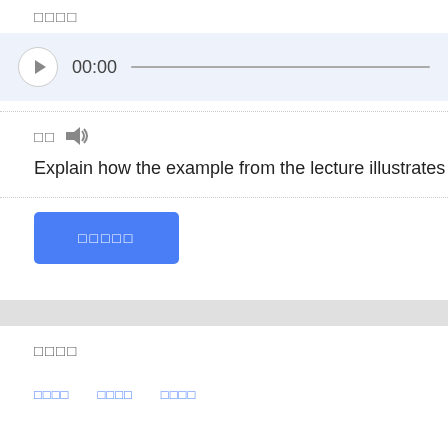□□□□
[Figure (screenshot): Audio player with play button, 00:00 timestamp, and progress bar on light blue background]
□□  🔊
Explain how the example from the lecture illustrates the co...
[Figure (screenshot): Blue button with white text □□□□□]
□□□□
□□□□  □□□□  □□□□